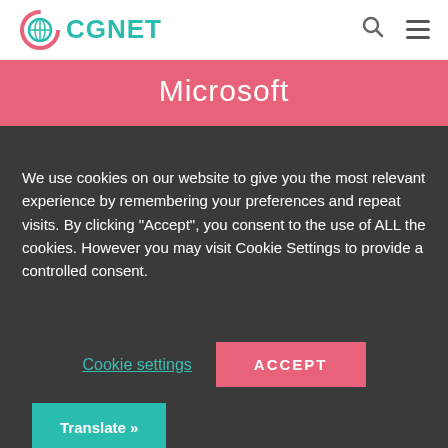CGNET
Microsoft
We use cookies on our website to give you the most relevant experience by remembering your preferences and repeat visits. By clicking “Accept”, you consent to the use of ALL the cookies. However you may visit Cookie Settings to provide a controlled consent.
Cookie settings
ACCEPT
Translate »